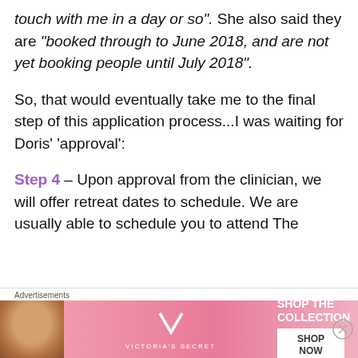touch with me in a day or so". She also said they are "booked through to June 2018, and are not yet booking people until July 2018".
So, that would eventually take me to the final step of this application process...I was waiting for Doris' 'approval':
Step 4 – Upon approval from the clinician, we will offer retreat dates to schedule. We are usually able to schedule you to attend The
[Figure (other): Victoria's Secret advertisement banner with woman's face, VS logo, 'SHOP THE COLLECTION' text, and 'SHOP NOW' button on pink background]